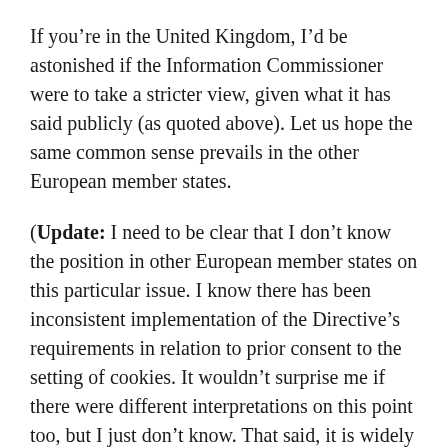If you're in the United Kingdom, I'd be astonished if the Information Commissioner were to take a stricter view, given what it has said publicly (as quoted above). Let us hope the same common sense prevails in the other European member states.
(Update: I need to be clear that I don't know the position in other European member states on this particular issue. I know there has been inconsistent implementation of the Directive's requirements in relation to prior consent to the setting of cookies. It wouldn't surprise me if there were different interpretations on this point too, but I just don't know. That said, it is widely recognised that the lack of uniformity across Europe is shambolic and that cases involving enforcement are rare.)